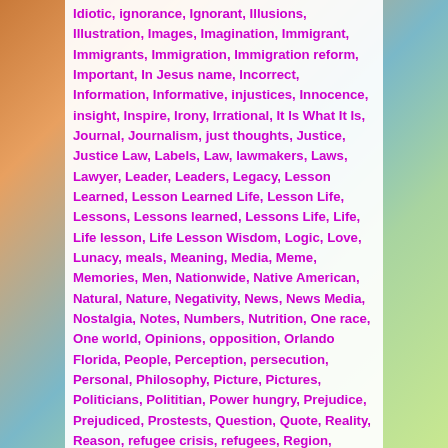Idiotic, ignorance, Ignorant, Illusions, Illustration, Images, Imagination, Immigrant, Immigrants, Immigration, Immigration reform, Important, In Jesus name, Incorrect, Information, Informative, injustices, Innocence, insight, Inspire, Irony, Irrational, It Is What It Is, Journal, Journalism, just thoughts, Justice, Justice Law, Labels, Law, lawmakers, Laws, Lawyer, Leader, Leaders, Legacy, Lesson Learned, Lesson Learned Life, Lesson Life, Lessons, Lessons learned, Lessons Life, Life, Life lesson, Life Lesson Wisdom, Logic, Love, Lunacy, meals, Meaning, Media, Meme, Memories, Men, Nationwide, Native American, Natural, Nature, Negativity, News, News Media, Nostalgia, Notes, Numbers, Nutrition, One race, One world, Opinions, opposition, Orlando Florida, People, Perception, persecution, Personal, Philosophy, Picture, Pictures, Politicians, Polititian, Power hungry, Prejudice, Prejudiced, Prostests, Question, Quote, Reality, Reason, refugee crisis, refugees, Region, regulations, Religion, Religious, religious beliefs, Scary, Seasons, Senate, Senseless, sensibility, Society, society rules, Speaker of the House, Stop, symbols, Syria, Terrorism, Thank you, thankful, Theology, Thought process, timeless, times change, tired, Trials, Tribulations, Uneducated, unethical, Unfair, values change, We all are one, We are one, We both are one, Who cares, Wisdom Men Women, Wisdom Quote,